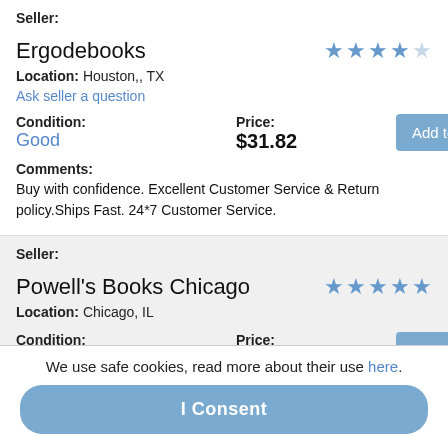Seller:
Ergodebooks
Location: Houston,, TX
Ask seller a question
Condition: Good
Price: $31.82
Comments: Buy with confidence. Excellent Customer Service & Return policy.Ships Fast. 24*7 Customer Service.
Seller:
Powell's Books Chicago
Location: Chicago, IL
Condition: VeryGood
Price: $33.75
We use safe cookies, read more about their use here.
I Consent